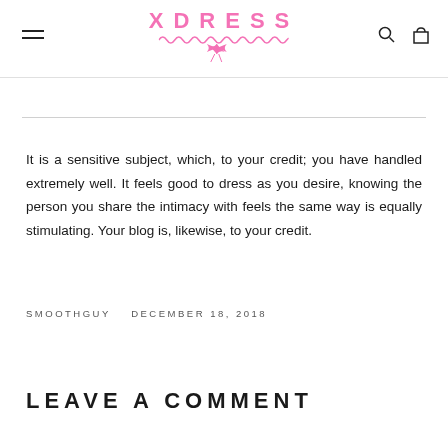XDRESS
It is a sensitive subject, which, to your credit; you have handled extremely well. It feels good to dress as you desire, knowing the person you share the intimacy with feels the same way is equally stimulating. Your blog is, likewise, to your credit.
SMOOTHGUY   DECEMBER 18, 2018
LEAVE A COMMENT